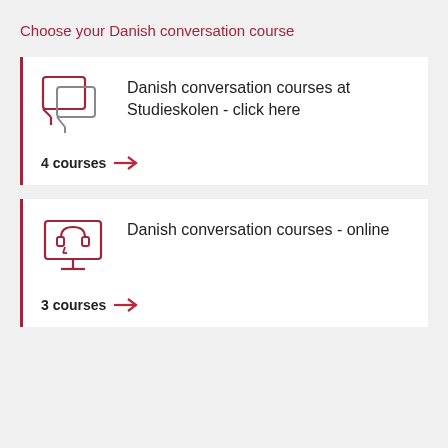Choose your Danish conversation course
Danish conversation courses at Studieskolen - click here
4 courses
Danish conversation courses - online
3 courses